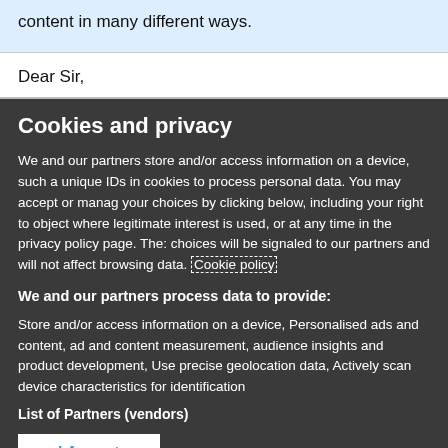content in many different ways.
Dear Sir,
Cookies and privacy
We and our partners store and/or access information on a device, such a unique IDs in cookies to process personal data. You may accept or manage your choices by clicking below, including your right to object where legitimate interest is used, or at any time in the privacy policy page. These choices will be signaled to our partners and will not affect browsing data. Cookie policy
We and our partners process data to provide:
Store and/or access information on a device, Personalised ads and content, ad and content measurement, audience insights and product development, Use precise geolocation data, Actively scan device characteristics for identification
List of Partners (vendors)
I Accept